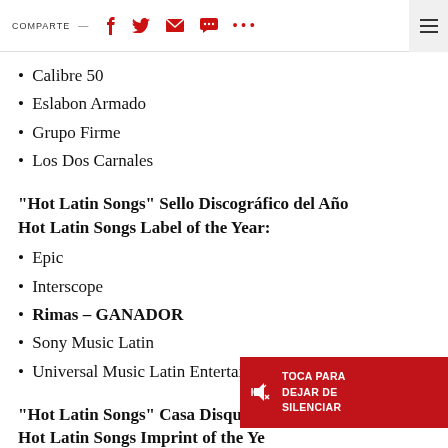COMPARTE —  [social icons]
Calibre 50
Eslabon Armado
Grupo Firme
Los Dos Carnales
"Hot Latin Songs" Sello Discográfico del Año Hot Latin Songs Label of the Year:
Epic
Interscope
Rimas – GANADOR
Sony Music Latin
Universal Music Latin Entertainment
"Hot Latin Songs" Casa Disquera Hot Latin Songs Imprint of the Year:
Aura Music